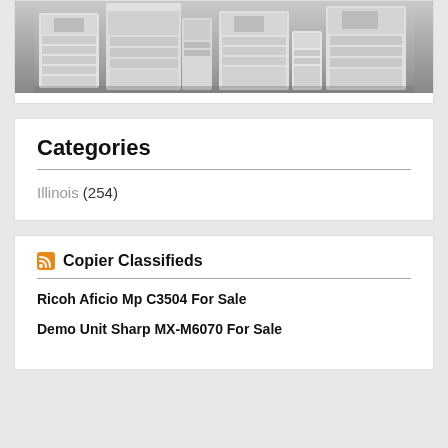[Figure (photo): Black and white photo of multiple large office copier/printer machines arranged side by side against a gray gradient background.]
Categories
Illinois (254)
Copier Classifieds
Ricoh Aficio Mp C3504 For Sale
Demo Unit Sharp MX-M6070 For Sale